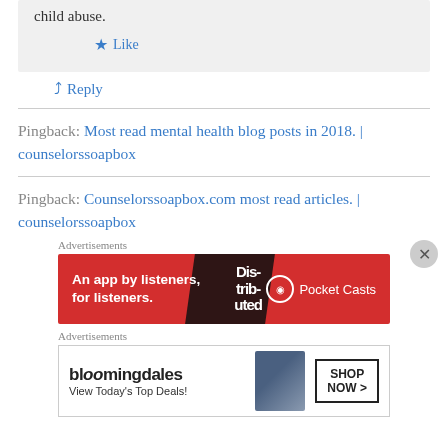child abuse.
Like
Reply
Pingback: Most read mental health blog posts in 2018. | counselorssoapbox
Pingback: Counselorssoapbox.com most read articles. | counselorssoapbox
Advertisements
[Figure (screenshot): Pocket Casts ad: An app by listeners, for listeners. Red background with dark diagonal design element and Pocket Casts logo.]
Advertisements
[Figure (screenshot): Bloomingdales ad: View Today's Top Deals! with Shop Now button and image of woman in hat.]